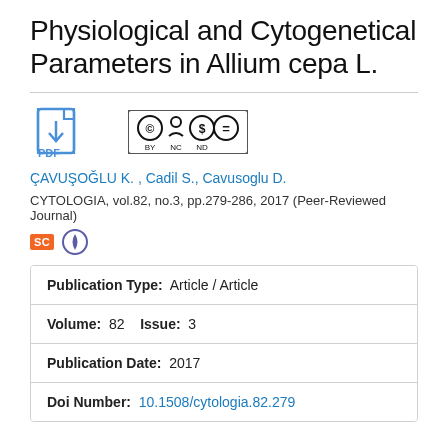Physiological and Cytogenetical Parameters in Allium cepa L.
[Figure (other): PDF download icon and Creative Commons BY-NC-ND license badge]
ÇAVUŞOĞLU K. , Cadil S., Cavusoglu D.
CYTOLOGIA, vol.82, no.3, pp.279-286, 2017 (Peer-Reviewed Journal)
[Figure (logo): Scopus (SC) and another indexing service badge icons]
| Field | Value |
| --- | --- |
| Publication Type: | Article / Article |
| Volume:  82   Issue: | 3 |
| Publication Date: | 2017 |
| Doi Number: | 10.1508/cytologia.82.279 |